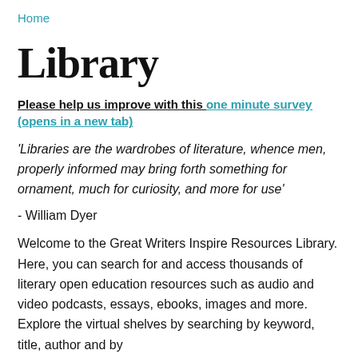Home
Library
Please help us improve with this one minute survey (opens in a new tab)
'Libraries are the wardrobes of literature, whence men, properly informed may bring forth something for ornament, much for curiosity, and more for use' - William Dyer
Welcome to the Great Writers Inspire Resources Library. Here, you can search for and access thousands of literary open education resources such as audio and video podcasts, essays, ebooks, images and more. Explore the virtual shelves by searching by keyword, title, author and by...